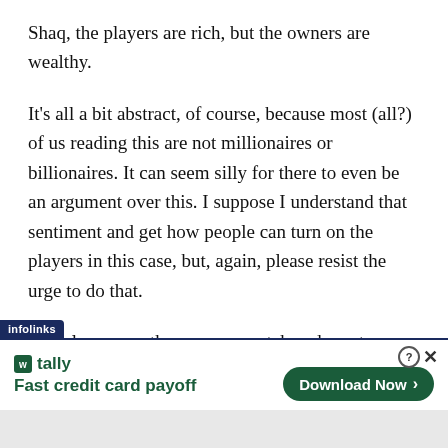Shaq, the players are rich, but the owners are wealthy.
It's all a bit abstract, of course, because most (all?) of us reading this are not millionaires or billionaires. It can seem silly for there to even be an argument over this. I suppose I understand that sentiment and get how people can turn on the players in this case, but, again, please resist the urge to do that.
The players are the ones we watch and pay to watch. The players are the ones who create the enjoyment and
[Figure (screenshot): Infolinks advertisement banner for Tally app with 'Fast credit card payoff' tagline and 'Download Now' button]